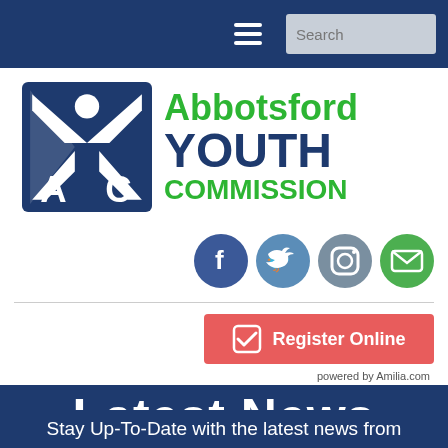Navigation bar with hamburger menu and search
[Figure (logo): Abbotsford Youth Commission logo with AYC letters in blue square and green/blue text]
[Figure (infographic): Social media icons: Facebook, Twitter, Instagram, Email]
[Figure (other): Register Online red button with checkmark icon]
powered by Amilia.com
Latest News
Stay Up-To-Date with the latest news from